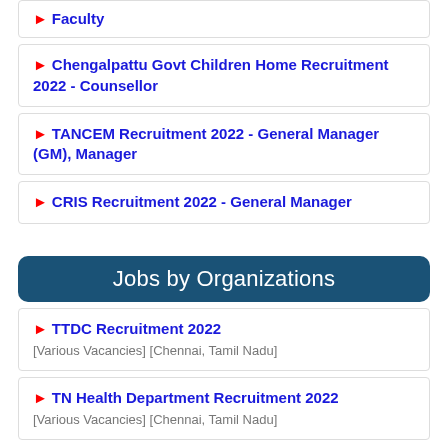► Faculty
► Chengalpattu Govt Children Home Recruitment 2022 - Counsellor
► TANCEM Recruitment 2022 - General Manager (GM), Manager
► CRIS Recruitment 2022 - General Manager
Jobs by Organizations
► TTDC Recruitment 2022
[Various Vacancies] [Chennai, Tamil Nadu]
► TN Health Department Recruitment 2022
[Various Vacancies] [Chennai, Tamil Nadu]